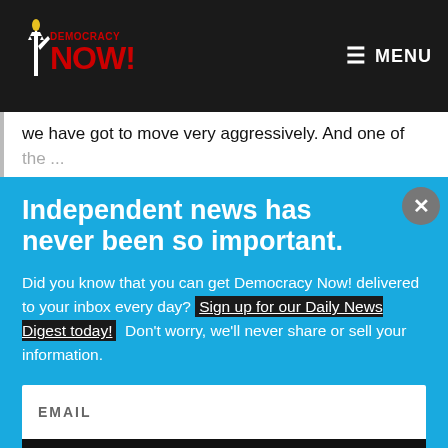[Figure (logo): Democracy Now! logo with red torch/statue graphic and red text on dark background]
≡ MENU
we have got to move very aggressively. And one of the...
Independent news has never been so important.
Did you know that you can get Democracy Now! delivered to your inbox every day? Sign up for our Daily News Digest today! Don't worry, we'll never share or sell your information.
EMAIL
SIGN UP!